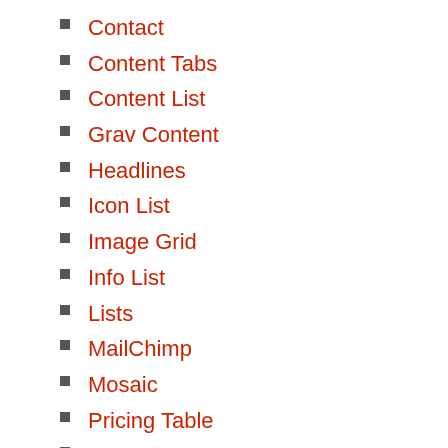Contact
Content Tabs
Content List
Grav Content
Headlines
Icon List
Image Grid
Info List
Lists
MailChimp
Mosaic
Pricing Table
Promo Image
Progress Bar
Showcase Tabs
Simple Counter
Slider
Strips Slider